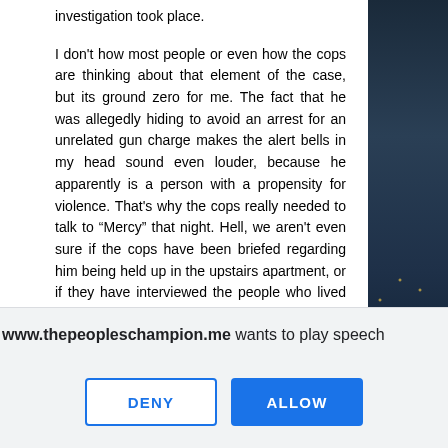investigation took place.

I don't how most people or even how the cops are thinking about that element of the case, but its ground zero for me. The fact that he was allegedly hiding to avoid an arrest for an unrelated gun charge makes the alert bells in my head sound even louder, because he apparently is a person with a propensity for violence. That's why the cops really needed to talk to “Mercy” that night. Hell, we aren't even sure if the cops have been briefed regarding him being held up in the upstairs apartment, or if they have interviewed the people who lived there.

Most followers of TPC Blog who have read about Vanessa's murder are already aware of my curiosity about exactly where “Mercy” was at in the apartment during the home invasion and subsequent shooting that killed young Vanessa. Those details are crucial to the investigation. We already know that India and
www.thepeopleschampion.me wants to play speech
DENY
ALLOW